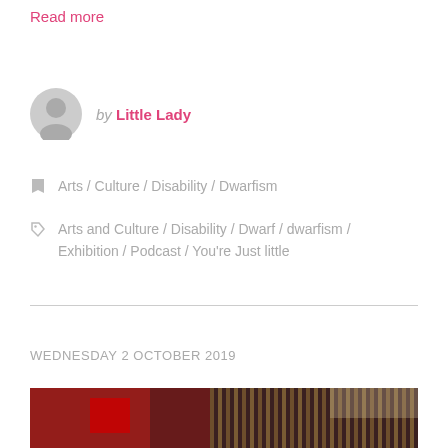Read more
by Little Lady
Arts / Culture / Disability / Dwarfism
Arts and Culture / Disability / Dwarf / dwarfism / Exhibition / Podcast / You're Just little
WEDNESDAY 2 OCTOBER 2019
[Figure (photo): Photo of an interior space with red lighting and wooden vertical slats/panels, partially visible at bottom of page]